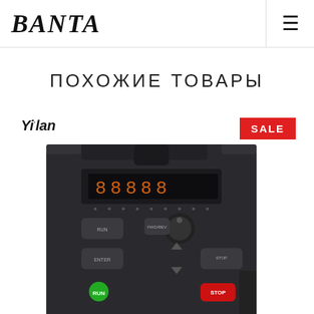BANTA
ПОХОЖИЕ ТОВАРЫ
[Figure (photo): Yilan brand variable frequency drive / inverter device, dark gray casing with digital display panel showing segments, control buttons (green and red), knob, and keypad. SALE badge in red shown in top right corner.]